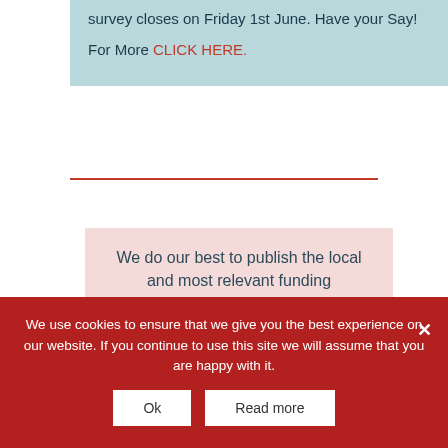survey closes on Friday 1st June. Have your Say!

For More CLICK HERE.
We do our best to publish the local and most relevant funding opportunities in the newsletter. There are others. Remember to keep an
We use cookies to ensure that we give you the best experience on our website. If you continue to use this site we will assume that you are happy with it.